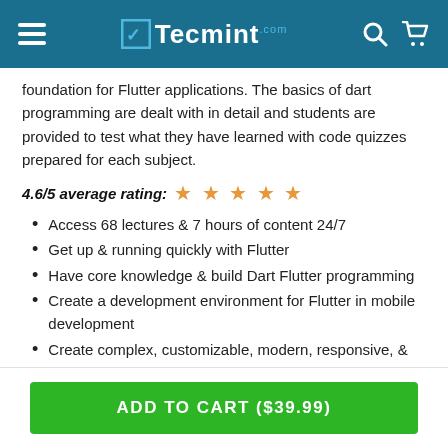Tecmint
foundation for Flutter applications. The basics of dart programming are dealt with in detail and students are provided to test what they have learned with code quizzes prepared for each subject.
4.6/5 average rating: ★ ★ ★ ★ ★
Access 68 lectures & 7 hours of content 24/7
Get up & running quickly with Flutter
Have core knowledge & build Dart Flutter programming
Create a development environment for Flutter in mobile development
Create complex, customizable, modern, responsive, & user-friendly web applications in mobile app marketing
NOTE: Software NOT included.
ADD TO CART ($39.99)